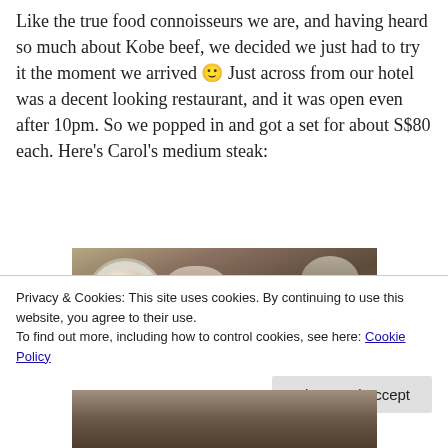Like the true food connoisseurs we are, and having heard so much about Kobe beef, we decided we just had to try it the moment we arrived 🙂 Just across from our hotel was a decent looking restaurant, and it was open even after 10pm. So we popped in and got a set for about S$80 each. Here's Carol's medium steak:
[Figure (photo): Photo of a restaurant table with a blue and white plate containing food items and a bowl, on a dark wood surface.]
Privacy & Cookies: This site uses cookies. By continuing to use this website, you agree to their use.
To find out more, including how to control cookies, see here: Cookie Policy
Close and accept
[Figure (photo): Partial photo of food on a plate at the bottom of the page.]